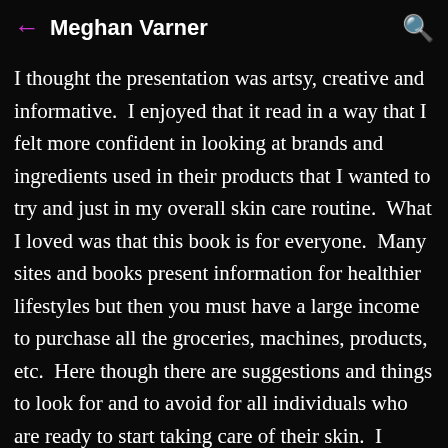Meghan Varner
I thought the presentation was artsy, creative and informative.  I enjoyed that it read in a way that I felt more confident in looking at brands and ingredients used in their products that I wanted to try and just in my overall skin care routine.  What I loved was that this book is for everyone.  Many sites and books present information for healthier lifestyles but then you must have a large income to purchase all the groceries, machines, products, etc.  Here though there are suggestions and things to look for and to avoid for all individuals who are ready to start taking care of their skin.  I would recommend this book to any that are just starting out in going "Green", but